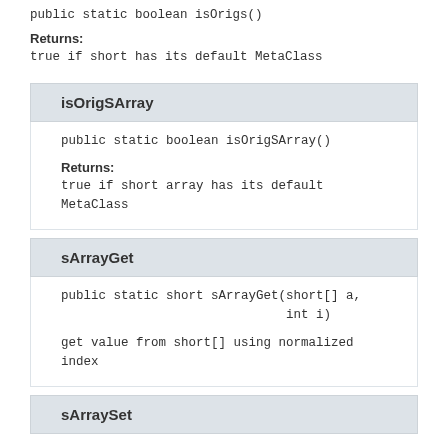public static boolean isOrigs()
Returns:
true if short has its default MetaClass
isOrigSArray
public static boolean isOrigSArray()
Returns:
true if short array has its default MetaClass
sArrayGet
public static short sArrayGet(short[] a,
                              int i)
get value from short[] using normalized index
sArraySet